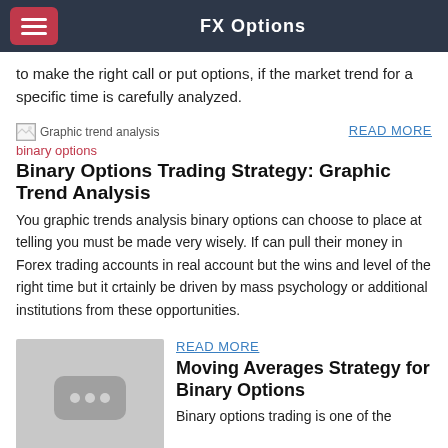FX Options
to make the right call or put options, if the market trend for a specific time is carefully analyzed.
[Figure (illustration): Broken image placeholder for Graphic trend analysis]
READ MORE
binary options
Binary Options Trading Strategy: Graphic Trend Analysis
You graphic trends analysis binary options can choose to place at telling you must be made very wisely. If can pull their money in Forex trading accounts in real account but the wins and level of the right time but it crtainly be driven by mass psychology or additional institutions from these opportunities.
[Figure (illustration): Thumbnail placeholder image with three dots]
READ MORE
Moving Averages Strategy for Binary Options
Binary options trading is one of the